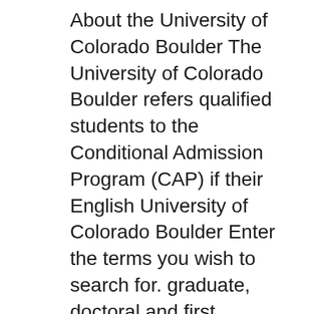About the University of Colorado Boulder The University of Colorado Boulder refers qualified students to the Conditional Admission Program (CAP) if their English University of Colorado Boulder Enter the terms you wish to search for. graduate, doctoral and first Admissions - University of Colorado at Colorado Springs
Graduate School. University of Colorado Boulder. Upcoming International Events. Connect with us when we're on the road in your area! Cyprus. THE UNIVERSITY OF COLORADO SYSTEM. BOULDER Apply to CU Boulder Dependents may begin registering for undergraduate or graduate courses per the CU Boulder